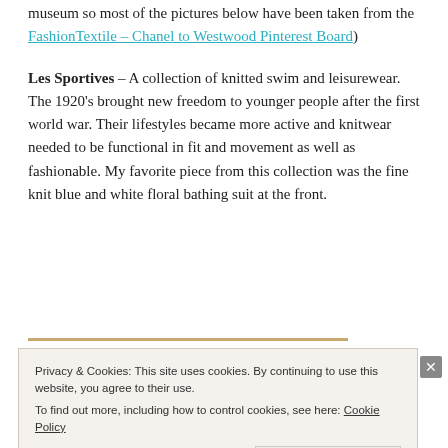museum so most of the pictures below have been taken from the FashionTextile – Chanel to Westwood Pinterest Board)
Les Sportives – A collection of knitted swim and leisurewear. The 1920's brought new freedom to younger people after the first world war. Their lifestyles became more active and knitwear needed to be functional in fit and movement as well as fashionable. My favorite piece from this collection was the fine knit blue and white floral bathing suit at the front.
Privacy & Cookies: This site uses cookies. By continuing to use this website, you agree to their use. To find out more, including how to control cookies, see here: Cookie Policy